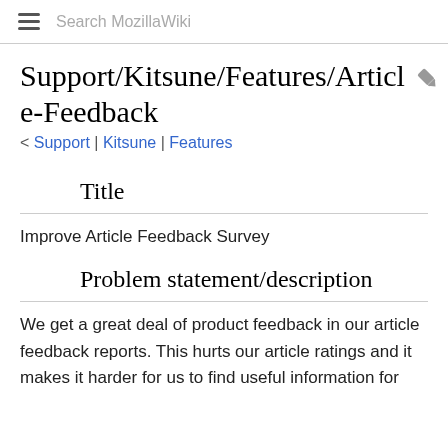Search MozillaWiki
Support/Kitsune/Features/Article-Feedback
< Support | Kitsune | Features
Title
Improve Article Feedback Survey
Problem statement/description
We get a great deal of product feedback in our article feedback reports. This hurts our article ratings and it makes it harder for us to find useful information for